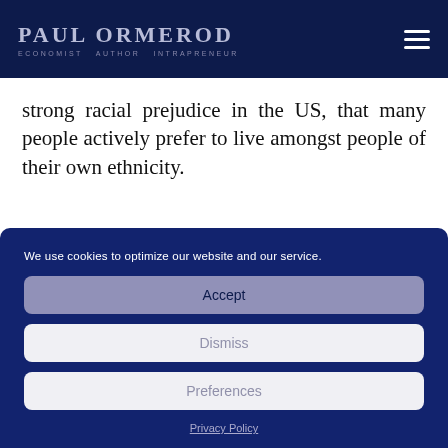Paul Ormerod — Economist Author Intrapreneur
strong racial prejudice in the US, that many people actively prefer to live amongst people of their own ethnicity.
We use cookies to optimize our website and our service.
Accept
Dismiss
Preferences
Privacy Policy